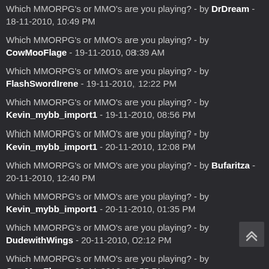Which MMORPG's or MMO's are you playing? - by DrDream - 18-11-2010, 10:49 PM
Which MMORPG's or MMO's are you playing? - by CowMooFlage - 19-11-2010, 08:39 AM
Which MMORPG's or MMO's are you playing? - by FlashSwordIrene - 19-11-2010, 12:22 PM
Which MMORPG's or MMO's are you playing? - by Kevin_mybb_import1 - 19-11-2010, 08:56 PM
Which MMORPG's or MMO's are you playing? - by Kevin_mybb_import1 - 20-11-2010, 12:08 PM
Which MMORPG's or MMO's are you playing? - by Bufaritza - 20-11-2010, 12:40 PM
Which MMORPG's or MMO's are you playing? - by Kevin_mybb_import1 - 20-11-2010, 01:35 PM
Which MMORPG's or MMO's are you playing? - by DudewithWings - 20-11-2010, 02:12 PM
Which MMORPG's or MMO's are you playing? - by CowMooFlage - 20-11-2010, 03:55 PM
Which MMORPG's or MMO's are you playing? - by DudewithWings - 20-11-2010, 04:22 PM
Which MMORPG's or MMO's are you playing? - by CowMooFlage - 20-11-2010, 04:50 PM
Which MMORPG's or MMO's are you playing? - by Kevin_mybb_import1 - 20-11-2010, 05:15 PM
Which MMORPG's or MMO's are you playing? - by Malyngo - 21-11-